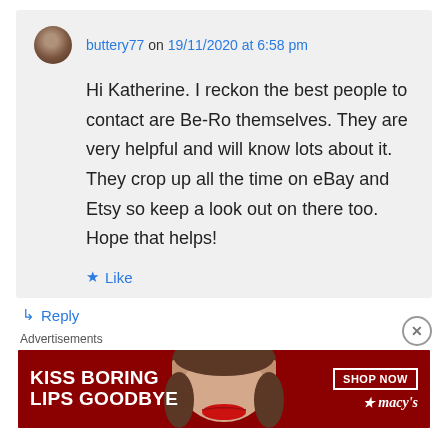buttery77 on 19/11/2020 at 6:58 pm
Hi Katherine. I reckon the best people to contact are Be-Ro themselves. They are very helpful and will know lots about it. They crop up all the time on eBay and Etsy so keep a look out on there too. Hope that helps!
★ Like
↳ Reply
Advertisements
[Figure (photo): Macy's advertisement banner: 'KISS BORING LIPS GOODBYE' with a woman's face showing red lipstick, and a 'SHOP NOW' button with the Macy's star logo]